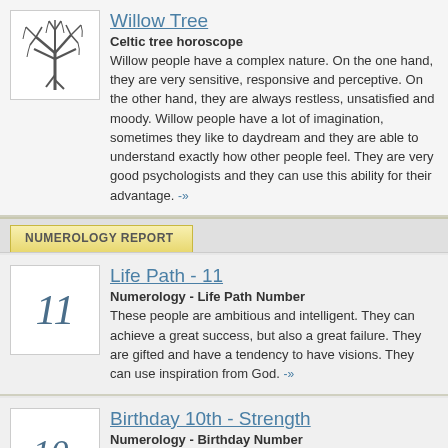[Figure (illustration): A bare willow tree illustration, black ink on white background]
Willow Tree
Celtic tree horoscope
Willow people have a complex nature. On the one hand, they are very sensitive, responsive and perceptive. On the other hand, they are always restless, unsatisfied and moody. Willow people have a lot of imagination, sometimes they like to daydream and they are able to understand exactly how other people feel. They are very good psychologists and they can use this ability for their advantage. -»
NUMEROLOGY REPORT
[Figure (other): Number 11 in italic script style]
Life Path - 11
Numerology - Life Path Number
These people are ambitious and intelligent. They can achieve a great success, but also a great failure. They are gifted and have a tendency to have visions. They can use inspiration from God. -»
[Figure (other): Number 10. in italic script style]
Birthday 10th - Strength
Numerology - Birthday Number